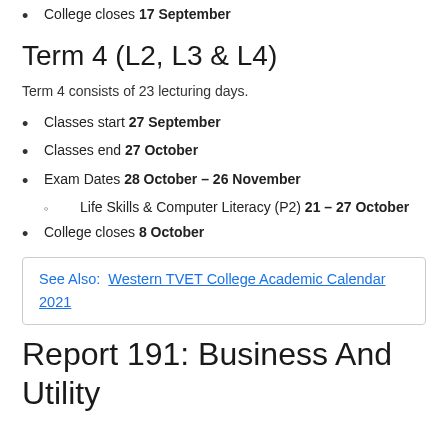College closes 17 September
Term 4 (L2, L3 & L4)
Term 4 consists of 23 lecturing days.
Classes start 27 September
Classes end 27 October
Exam Dates 28 October – 26 November
Life Skills & Computer Literacy (P2) 21 – 27 October
College closes 8 October
See Also: Western TVET College Academic Calendar 2021
Report 191: Business And Utility